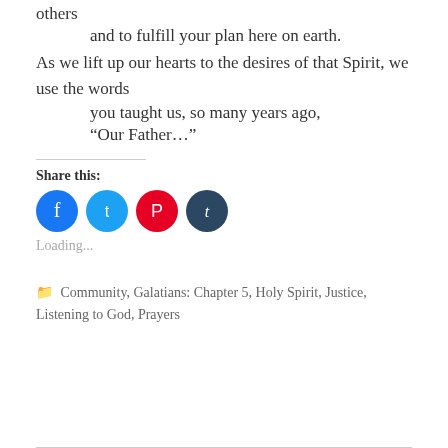others
and to fulfill your plan here on earth.
As we lift up our hearts to the desires of that Spirit, we use the words
you taught us, so many years ago,
“Our Father…”
Share this:
Loading...
Community, Galatians: Chapter 5, Holy Spirit, Justice, Listening to God, Prayers